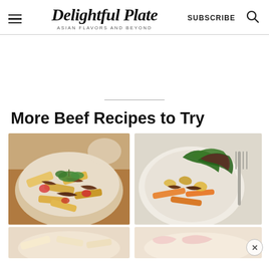Delightful Plate — ASIAN FLAVORS and BEYOND — SUBSCRIBE
More Beef Recipes to Try
[Figure (photo): Bowl of beef pasta with tomatoes and cilantro garnish]
[Figure (photo): Plate of beef pasta salad with carrots, greens, and fork]
[Figure (photo): Partially visible food photo (faded, bottom row left)]
[Figure (photo): Partially visible food photo (faded, bottom row right)]